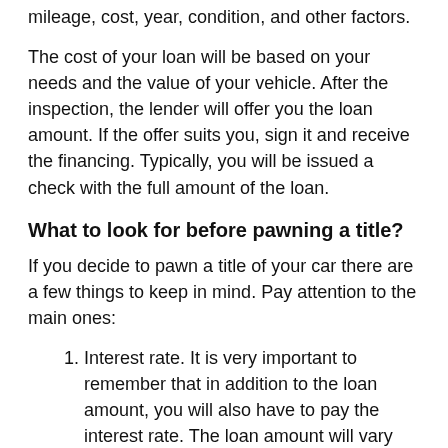mileage, cost, year, condition, and other factors.
The cost of your loan will be based on your needs and the value of your vehicle. After the inspection, the lender will offer you the loan amount. If the offer suits you, sign it and receive the financing. Typically, you will be issued a check with the full amount of the loan.
What to look for before pawning a title?
If you decide to pawn a title of your car there are a few things to keep in mind. Pay attention to the main ones:
Interest rate. It is very important to remember that in addition to the loan amount, you will also have to pay the interest rate. The loan amount will vary depending on the company you choose. Thus, it is important to compare offers in order to choose the most suitable one for your financial situation.
The value of your car. Also, before getting financing,